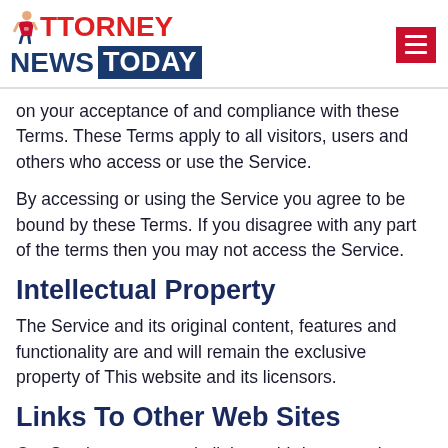ATTORNEY NEWS TODAY
on your acceptance of and compliance with these Terms. These Terms apply to all visitors, users and others who access or use the Service.
By accessing or using the Service you agree to be bound by these Terms. If you disagree with any part of the terms then you may not access the Service.
Intellectual Property
The Service and its original content, features and functionality are and will remain the exclusive property of This website and its licensors.
Links To Other Web Sites
Our Service may contain links to third-party web